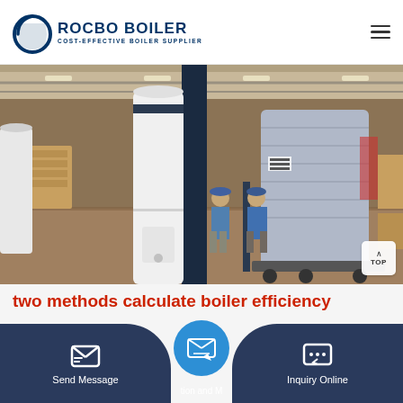[Figure (logo): Rocbo Boiler logo with circular icon and text 'ROCBO BOILER - COST-EFFECTIVE BOILER SUPPLIER']
[Figure (photo): Factory floor photo showing large white and dark cylindrical boiler units being inspected by workers in blue uniforms in an industrial warehouse setting]
two methods calculate boiler efficiency
Send Message
tion and M
Inquiry Online